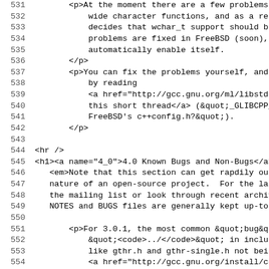531-562 lines of source code showing HTML markup for FreeBSD wchar_t discussion and Known Bugs section
4.0 Known Bugs and Non-Bugs